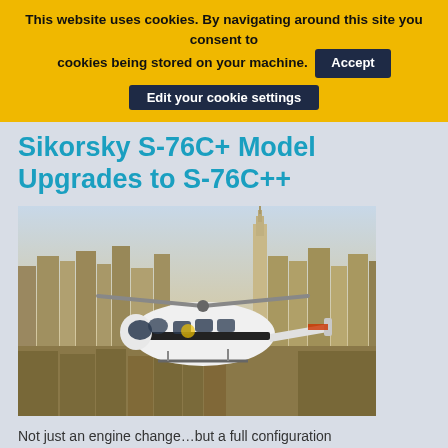This website uses cookies. By navigating around this site you consent to cookies being stored on your machine. Accept Edit your cookie settings
Sikorsky S-76C+ Model Upgrades to S-76C++
[Figure (photo): A white Sikorsky S-76 helicopter flying over a city skyline, with tall skyscrapers including the Empire State Building visible in the background. The helicopter is white with black trim.]
Not just an engine change…but a full configuration